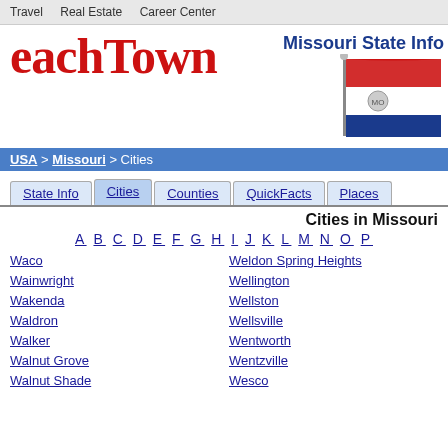Travel   Real Estate   Career Center
eachTown
USA > Missouri > Cities
Missouri State Info
[Figure (illustration): Missouri state flag waving on a pole]
State Info  Cities  Counties  QuickFacts  Places
Cities in Missouri
A B C D E F G H I J K L M N O ...
Waco
Weldon Spring Heights
Wainwright
Wellington
Wakenda
Wellston
Waldron
Wellsville
Walker
Wentworth
Walnut Grove
Wentzville
Walnut Shade
Wesco